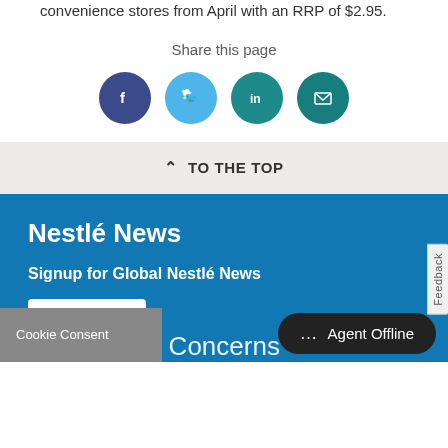convenience stores from April with an RRP of $2.95.
Share this page
[Figure (infographic): Four circular social share icons: Facebook (dark blue), Twitter (light blue), LinkedIn (teal), Email (dark teal)]
TO THE TOP
Nestlé News
Signup for Global Nestlé News
Sign up
Feedback
Cookie Consent
Agent Offline
Concerns